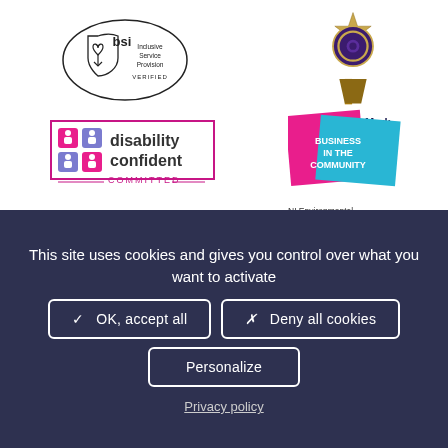[Figure (logo): BSI Inclusive Service Provision Verified logo - oval shape with heart/shield icon]
[Figure (logo): Diversity Mark award logo - ornate gold/purple medallion]
Diversity Mark
[Figure (logo): Disability Confident Committed logo - pink bordered box with icons and text]
[Figure (logo): Business in the Community logo - overlapping blue and pink squares]
NI Environmental Benchmarking Survey 2020 Green
This site uses cookies and gives you control over what you want to activate
✓  OK, accept all
✗  Deny all cookies
Personalize
Privacy policy